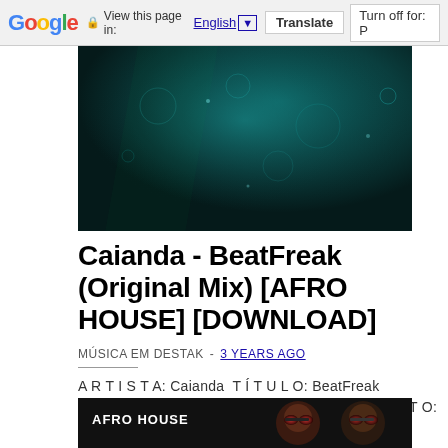Google  View this page in: English ▼  Translate  Turn off for: P
[Figure (photo): Dark teal/green abstract banner image for a music blog]
Caianda - BeatFreak (Original Mix) [AFRO HOUSE] [DOWNLOAD]
MÚSICA EM DESTAK  -  3 YEARS AGO
A R T I S T A: Caianda  T Í T U L O: BeatFreak (Original Mix) G É N E R O: Afro House F O R M A T O: Mp3 Q U A L I D A D...
[Figure (photo): Dark card with AFRO HOUSE label and two people wearing reflective goggles]